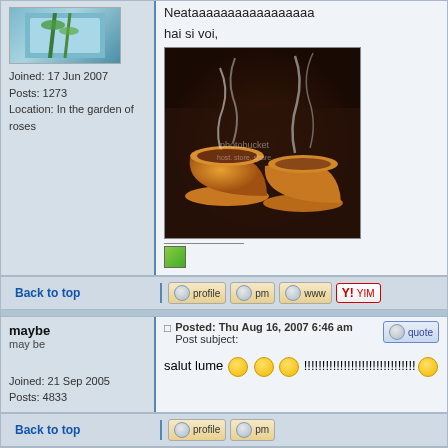[Figure (photo): Avatar image with blue-green bamboo/nature theme]
Joined: 17 Jun 2007
Posts: 1273
Location: In the garden of roses
Neataaaaaaaaaaaaaaaaa
hai si voi,
[Figure (photo): Two orange/golden tea cups with steam rising on a dark background, photobucket watermark]
[Figure (photo): Small green signature image below horizontal rule]
Back to top
profile  pm  www  YIM
maybe
may be
Joined: 21 Sep 2005
Posts: 4833
Posted: Thu Aug 16, 2007 6:46 am    Post subject:
salut lume :) :) :) !!!!!!!!!!!!!!!!!!!!!!!!!!!!!!
Back to top
profile  pm
Nemo
Posted: Thu Aug 16, 2007 10:37 am    Post